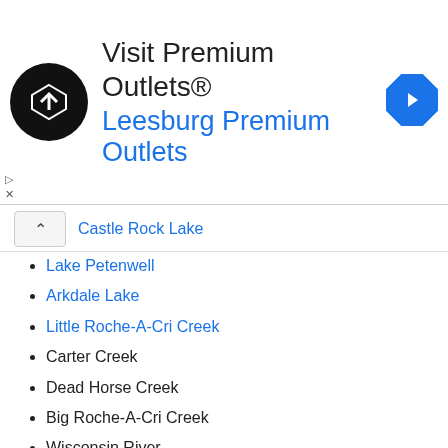[Figure (other): Advertisement banner: Visit Premium Outlets® Leesburg Premium Outlets, with circular logo on left and navigation arrow icon on right]
Castle Rock Lake
Lake Petenwell
Arkdale Lake
Little Roche-A-Cri Creek
Carter Creek
Dead Horse Creek
Big Roche-A-Cri Creek
Wisconsin River
Public Land & Features for the Area
Hwy 21 Boat Launch - Wisconsin River
Petenwell Hydro Dam